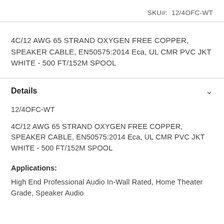SKU#:  12/4OFC-WT
4C/12 AWG 65 STRAND OXYGEN FREE COPPER, SPEAKER CABLE, EN50575:2014 Eca, UL CMR PVC JKT WHITE - 500 FT/152M SPOOL
Details
12/4OFC-WT
4C/12 AWG 65 STRAND OXYGEN FREE COPPER, SPEAKER CABLE, EN50575:2014 Eca, UL CMR PVC JKT WHITE - 500 FT/152M SPOOL
Applications:
High End Professional Audio In-Wall Rated, Home Theater Grade, Speaker Audio